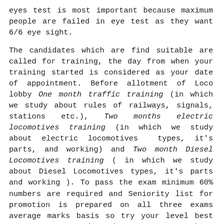eyes test is most important because maximum people are failed in eye test as they want 6/6 eye sight.
The candidates which are find suitable are called for training, the day from when your training started is considered as your date of appointment. Before allotment of Loco lobby One month traffic training (in which we study about rules of railways, signals, stations etc.), Two months electric locomotives training (in which we study about electric locomotives types, it's parts, and working) and Two month Diesel Locomotives training ( in which we study about Diesel Locomotives types, it's parts and working ). To pass the exam minimum 60% numbers are required and Seniority list for promotion is prepared on all three exams average marks basis so try your level best to secure as much marks as you can. There are Two Traffic training schools (one at Chandausi, Uttar Pradesh and second at Udaipur, Rajasthan), One electric training school (at Chipiana, Uttar Pradesh) and Four Diesel training institute (1. At Ludhiana, Punjab, 2.